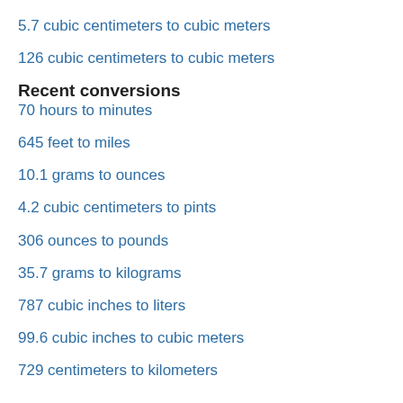5.7 cubic centimeters to cubic meters
126 cubic centimeters to cubic meters
Recent conversions
70 hours to minutes
645 feet to miles
10.1 grams to ounces
4.2 cubic centimeters to pints
306 ounces to pounds
35.7 grams to kilograms
787 cubic inches to liters
99.6 cubic inches to cubic meters
729 centimeters to kilometers